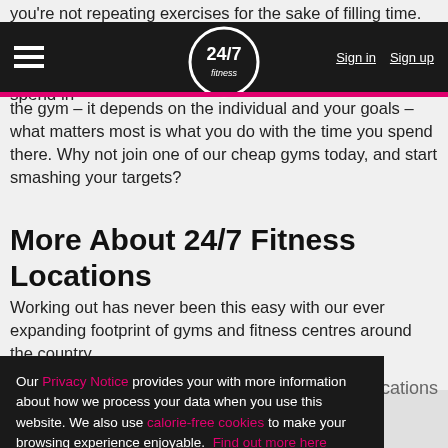you're not repeating exercises for the sake of filling time.
There is no magic number for how long you should spend in the gym – it depends on the individual and your goals – what matters most is what you do with the time you spend there. Why not join one of our cheap gyms today, and start smashing your targets?
More About 24/7 Fitness Locations
Working out has never been this easy with our ever expanding footprint of gyms and fitness centres around the country.
our locations
Our Privacy Notice provides your with more information about how we process your data when you use this website. We also use calorie-free cookies to make your browsing experience enjoyable. Find out more here
Got it
Cannock